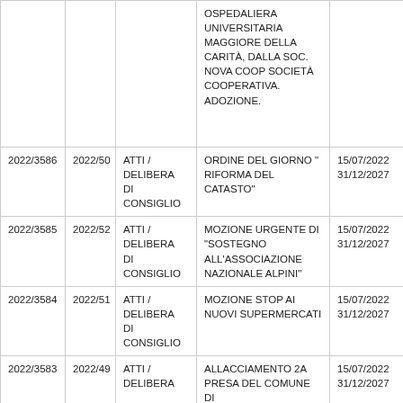|  |  |  |  |  |
| --- | --- | --- | --- | --- |
|  |  |  | OSPEDALIERA UNIVERSITARIA MAGGIORE DELLA CARITÀ, DALLA SOC. NOVA COOP SOCIETÀ COOPERATIVA. ADOZIONE. |  |
| 2022/3586 | 2022/50 | ATTI / DELIBERA DI CONSIGLIO | ORDINE DEL GIORNO " RIFORMA DEL CATASTO" | 15/07/2022 31/12/2027 |
| 2022/3585 | 2022/52 | ATTI / DELIBERA DI CONSIGLIO | MOZIONE URGENTE DI "SOSTEGNO ALL'ASSOCIAZIONE NAZIONALE ALPINI" | 15/07/2022 31/12/2027 |
| 2022/3584 | 2022/51 | ATTI / DELIBERA DI CONSIGLIO | MOZIONE STOP AI NUOVI SUPERMERCATI | 15/07/2022 31/12/2027 |
| 2022/3583 | 2022/49 | ATTI / DELIBERA | ALLACCIAMENTO 2A PRESA DEL COMUNE DI | 15/07/2022 31/12/2027 |